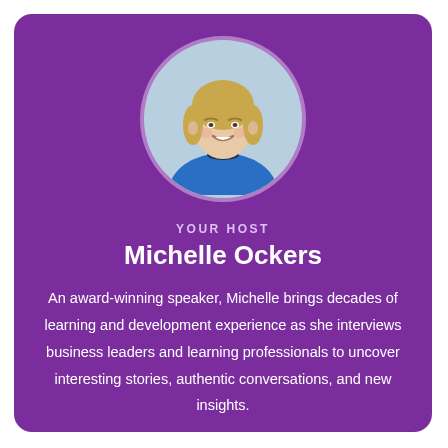[Figure (photo): Circular headshot photo of Michelle Ockers, a woman with blonde bob hair wearing a blue blazer, smiling, on a light blue-grey background]
YOUR HOST
Michelle Ockers
An award-winning speaker, Michelle brings decades of learning and development experience as she interviews business leaders and learning professionals to uncover interesting stories, authentic conversations, and new insights.